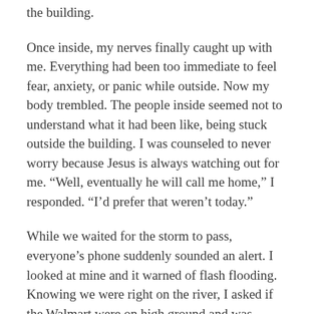the building.
Once inside, my nerves finally caught up with me. Everything had been too immediate to feel fear, anxiety, or panic while outside. Now my body trembled. The people inside seemed not to understand what it had been like, being stuck outside the building. I was counseled to never worry because Jesus is always watching out for me. “Well, eventually he will call me home,” I responded. “I’d prefer that weren’t today.”
While we waited for the storm to pass, everyone’s phone suddenly sounded an alert. I looked at mine and it warned of flash flooding. Knowing we were right on the river, I asked if the Walmart were on high ground and was reassured by many that the river would take days to rise high enough to reach us.
Finally the wind died down. I had to ask several Walmart employees before I found one willing to get a flashlight